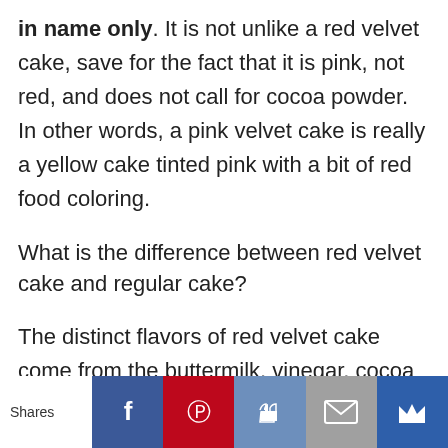in name only. It is not unlike a red velvet cake, save for the fact that it is pink, not red, and does not call for cocoa powder. In other words, a pink velvet cake is really a yellow cake tinted pink with a bit of red food coloring.
What is the difference between red velvet cake and regular cake?
The distinct flavors of red velvet cake come from the buttermilk, vinegar, cocoa powder, and cream cheese frosting. … This leads
Shares